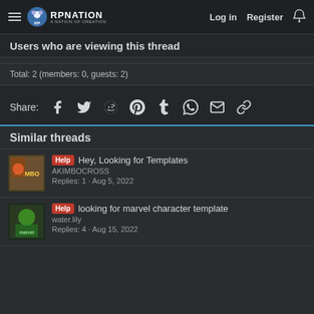RPNation | Log in | Register
Users who are viewing this thread
Total: 2 (members: 0, guests: 2)
Share: [Facebook] [Twitter] [Reddit] [Pinterest] [Tumblr] [WhatsApp] [Email] [Link]
Similar threads
Help Hey, Looking for Templates | AKIMBOCROSS | Replies: 1 · Aug 5, 2022
Help looking for marvel character template | water.lily | Replies: 4 · Aug 15, 2022